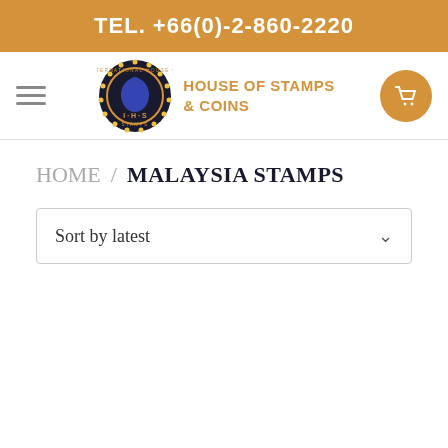TEL. +66(0)-2-860-2220
[Figure (logo): International House of Stamps circular logo with blue emblem, next to text HOUSE OF STAMPS & COINS in orange]
HOME / MALAYSIA STAMPS
Sort by latest